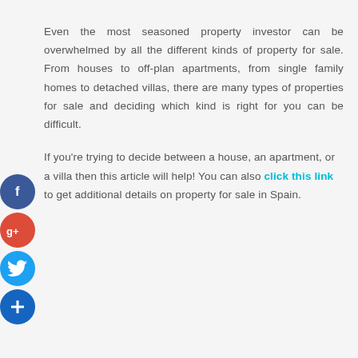Even the most seasoned property investor can be overwhelmed by all the different kinds of property for sale. From houses to off-plan apartments, from single family homes to detached villas, there are many types of properties for sale and deciding which kind is right for you can be difficult.
If you're trying to decide between a house, an apartment, or a villa then this article will help! You can also click this link to get additional details on property for sale in Spain.